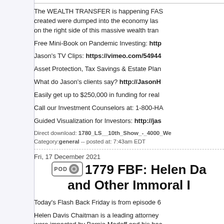The WEALTH TRANSFER is happening FAST... created were dumped into the economy last... on the right side of this massive wealth trans...
Free Mini-Book on Pandemic Investing: http...
Jason's TV Clips: https://vimeo.com/54944...
Asset Protection, Tax Savings & Estate Plan...
What do Jason's clients say? http://JasonH...
Easily get up to $250,000 in funding for real...
Call our Investment Counselors at: 1-800-HA...
Guided Visualization for Investors: http://jas...
Direct download: 1780_LS__10th_Show_-_4000_We...
Category: general -- posted at: 7:43am EDT
Fri, 17 December 2021
1779 FBF: Helen Da... and Other Immoral I...
Today's Flash Back Friday is from episode 6...
Helen Davis Chaitman is a leading attorney... were impacted by Bernie Madoff and his bac... America's Biggest Bank and America's Bigg... conducts business with more than 50% of A...